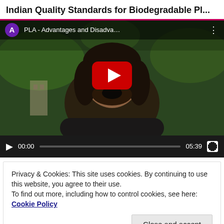Indian Quality Standards for Biodegradable Pl...
[Figure (screenshot): YouTube video player showing 'PLA - Advantages and Disadva...' with a man's face, YouTube play button overlay, and video controls showing 00:00 and 05:39]
Privacy & Cookies: This site uses cookies. By continuing to use this website, you agree to their use.
To find out more, including how to control cookies, see here: Cookie Policy
[Figure (screenshot): Second YouTube video player showing 'Biobased Plastics - Advantage...' with a man's face partially visible and a red YouTube play button]